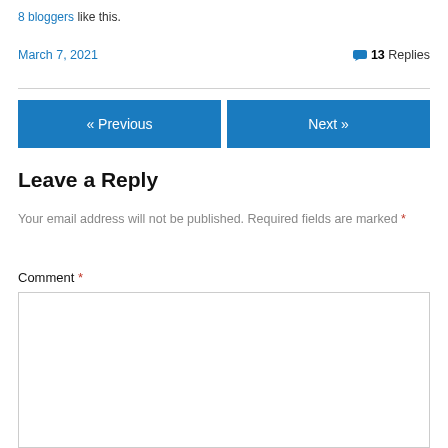8 bloggers like this.
March 7, 2021   💬 13 Replies
« Previous   Next »
Leave a Reply
Your email address will not be published. Required fields are marked *
Comment *